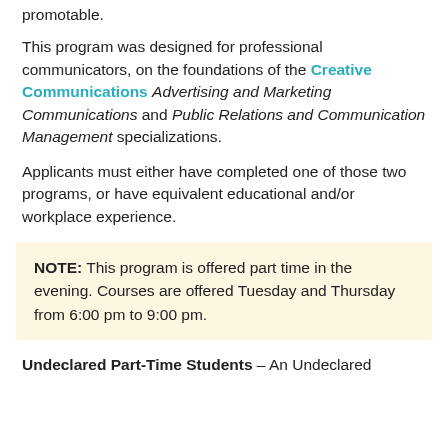promotable.
This program was designed for professional communicators, on the foundations of the Creative Communications Advertising and Marketing Communications and Public Relations and Communication Management specializations.
Applicants must either have completed one of those two programs, or have equivalent educational and/or workplace experience.
NOTE: This program is offered part time in the evening. Courses are offered Tuesday and Thursday from 6:00 pm to 9:00 pm.
Undeclared Part-Time Students - An Undeclared